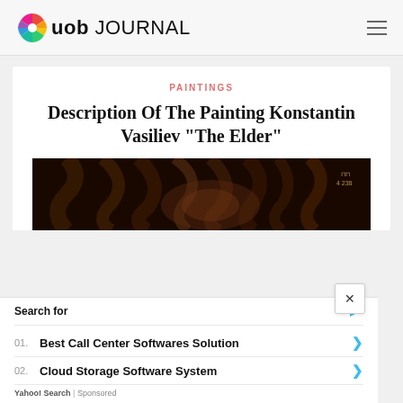uob JOURNAL
PAINTINGS
Description Of The Painting Konstantin Vasiliev "The Elder"
[Figure (photo): Close-up painting detail showing flowing dark hair or figure, very dark tones, attributed to Konstantin Vasiliev, with small notation in upper right corner '4 238']
Search for
01. Best Call Center Softwares Solution
02. Cloud Storage Software System
Yahoo! Search | Sponsored